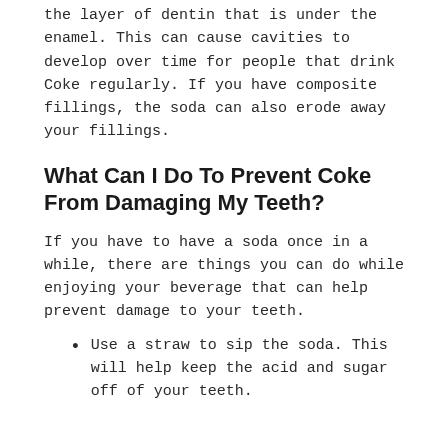the layer of dentin that is under the enamel. This can cause cavities to develop over time for people that drink Coke regularly. If you have composite fillings, the soda can also erode away your fillings.
What Can I Do To Prevent Coke From Damaging My Teeth?
If you have to have a soda once in a while, there are things you can do while enjoying your beverage that can help prevent damage to your teeth.
Use a straw to sip the soda. This will help keep the acid and sugar off of your teeth.